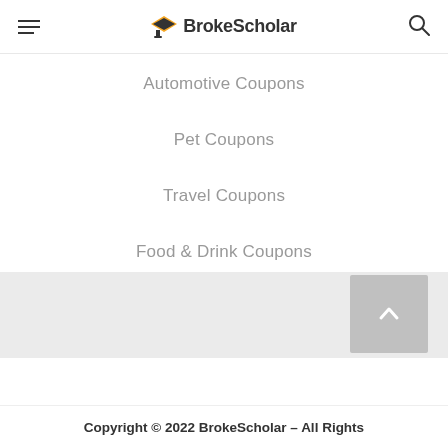BrokeScholar
Baby & Kids Coupons
Automotive Coupons
Pet Coupons
Travel Coupons
Food & Drink Coupons
All Categories
Copyright © 2022 BrokeScholar – All Rights